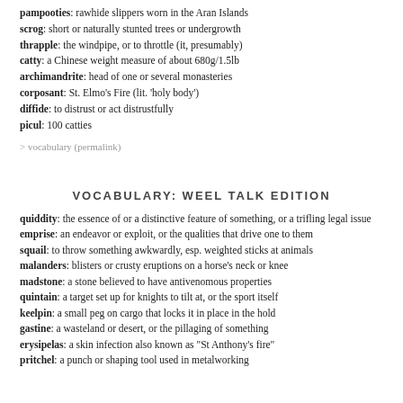pampooties: rawhide slippers worn in the Aran Islands
scrog: short or naturally stunted trees or undergrowth
thrapple: the windpipe, or to throttle (it, presumably)
catty: a Chinese weight measure of about 680g/1.5lb
archimandrite: head of one or several monasteries
corposant: St. Elmo's Fire (lit. 'holy body')
diffide: to distrust or act distrustfully
picul: 100 catties
> vocabulary (permalink)
VOCABULARY: WEEL TALK EDITION
quiddity: the essence of or a distinctive feature of something, or a trifling legal issue
emprise: an endeavor or exploit, or the qualities that drive one to them
squail: to throw something awkwardly, esp. weighted sticks at animals
malanders: blisters or crusty eruptions on a horse's neck or knee
madstone: a stone believed to have antivenomous properties
quintain: a target set up for knights to tilt at, or the sport itself
keelpin: a small peg on cargo that locks it in place in the hold
gastine: a wasteland or desert, or the pillaging of something
erysipelas: a skin infection also known as "St Anthony's fire"
pritchel: a punch or shaping tool used in metalworking